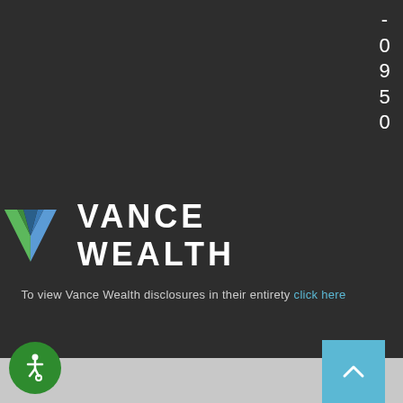-
0
9
5
0
[Figure (logo): Vance Wealth logo: a stylized V shape with green and blue facets, followed by the text VANCE WEALTH in white bold letters]
To view Vance Wealth disclosures in their entirety click here
[Figure (other): Green circular accessibility icon (wheelchair user symbol) in bottom left, and a light blue scroll-to-top button with upward chevron in bottom right]